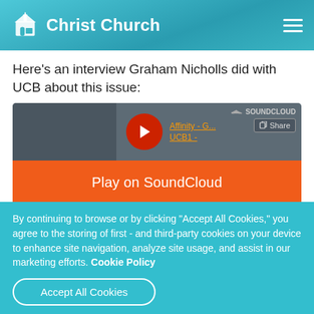Christ Church
Here’s an interview Graham Nicholls did with UCB about this issue:
[Figure (screenshot): SoundCloud embedded player showing 'Affinity - G... UCB1 -' with play button, orange 'Play on SoundCloud' button, and 'Listen in browser' button]
By continuing to browse or by clicking "Accept All Cookies," you agree to the storing of first - and third-party cookies on your device to enhance site navigation, analyze site usage, and assist in our marketing efforts. Cookie Policy
Accept All Cookies